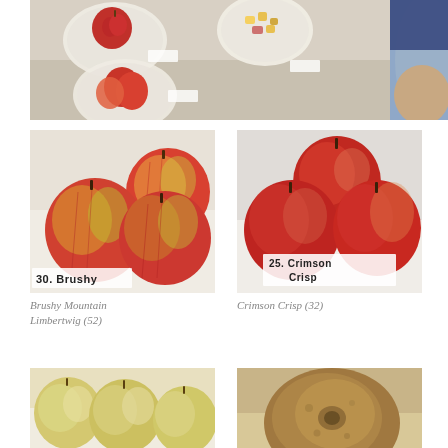[Figure (photo): Top-down photo of apple tasting event: multiple apples on white paper plates on a white tablecloth, with a person's arm visible at right, samples of cut apple pieces visible]
[Figure (photo): Close-up photo of three red and yellow striped apples labeled '30. Brushy' on a white background]
Brushy Mountain Limbertwig (52)
[Figure (photo): Close-up photo of three deep red apples labeled '25. Crimson Crisp' on a white background]
Crimson Crisp (32)
[Figure (photo): Close-up photo of several light yellow-green apples on white background]
[Figure (photo): Close-up photo of a single russet-brown apple viewed from above on white background]